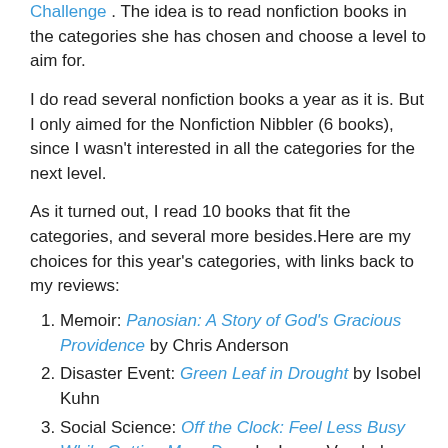Challenge . The idea is to read nonfiction books in the categories she has chosen and choose a level to aim for.
I do read several nonfiction books a year as it is. But I only aimed for the Nonfiction Nibbler (6 books), since I wasn't interested in all the categories for the next level.
As it turned out, I read 10 books that fit the categories, and several more besides.Here are my choices for this year's categories, with links back to my reviews:
Memoir: Panosian: A Story of God's Gracious Providence by Chris Anderson
Disaster Event: Green Leaf in Drought by Isobel Kuhn
Social Science: Off the Clock: Feel Less Busy While Getting More Done by Laura Vanderkam
Related to an Occupation: True Strength: My Journey from Hercules to Mere Mortal—and How Nearly Dying Saved my Life, by Kevin Sorbo
History: The Last Castle: The Epic Story of Love, Loss, and American Royalty in the Nation's Largest...